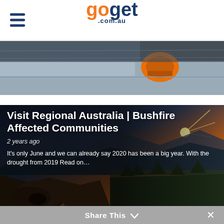goget .com.au
[Figure (photo): Close-up photo of an orange car side mirror and door, car in motion]
[Figure (photo): Landscape photo of Blue Mountains at sunset with orange sun rays, rocky foreground]
Visit Regional Australia | Bushfire Affected Communities
2 years ago
It's only June and we can already say 2020 has been a big year. With the drought from 2019 Read on…
Share This